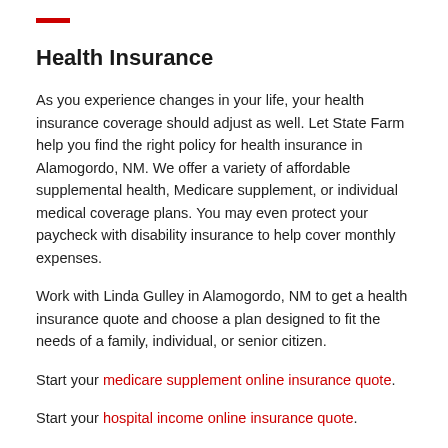Health Insurance
As you experience changes in your life, your health insurance coverage should adjust as well. Let State Farm help you find the right policy for health insurance in Alamogordo, NM. We offer a variety of affordable supplemental health, Medicare supplement, or individual medical coverage plans. You may even protect your paycheck with disability insurance to help cover monthly expenses.
Work with Linda Gulley in Alamogordo, NM to get a health insurance quote and choose a plan designed to fit the needs of a family, individual, or senior citizen.
Start your medicare supplement online insurance quote.
Start your hospital income online insurance quote.